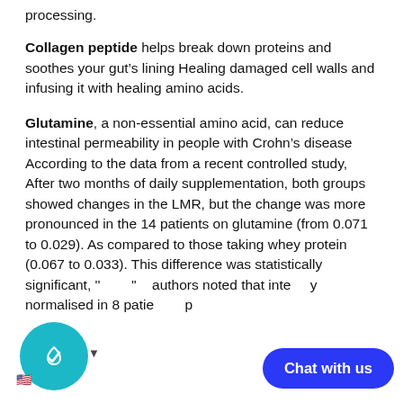processing.
Collagen peptide helps break down proteins and soothes your gut's lining Healing damaged cell walls and infusing it with healing amino acids.
Glutamine, a non-essential amino acid, can reduce intestinal permeability in people with Crohn's disease According to the data from a recent controlled study, After two months of daily supplementation, both groups showed changes in the LMR, but the change was more pronounced in the 14 patients on glutamine (from 0.071 to 0.029). As compared to those taking whey protein (0.067 to 0.033). This difference was statistically significant, '' '' authors noted that inte y normalised in 8 patie p